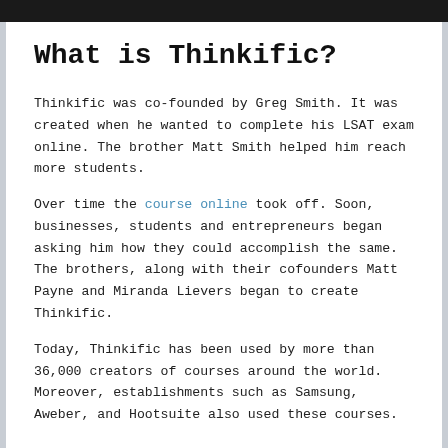What is Thinkific?
Thinkific was co-founded by Greg Smith. It was created when he wanted to complete his LSAT exam online. The brother Matt Smith helped him reach more students.
Over time the course online took off. Soon, businesses, students and entrepreneurs began asking him how they could accomplish the same. The brothers, along with their cofounders Matt Payne and Miranda Lievers began to create Thinkific.
Today, Thinkific has been used by more than 36,000 creators of courses around the world. Moreover, establishments such as Samsung, Aweber, and Hootsuite also used these courses.